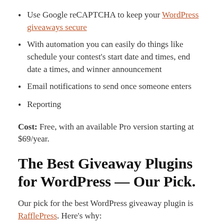Use Google reCAPTCHA to keep your WordPress giveaways secure
With automation you can easily do things like schedule your contest's start date and times, end date a times, and winner announcement
Email notifications to send once someone enters
Reporting
Cost: Free, with an available Pro version starting at $69/year.
The Best Giveaway Plugins for WordPress — Our Pick.
Our pick for the best WordPress giveaway plugin is RafflePress. Here's why: